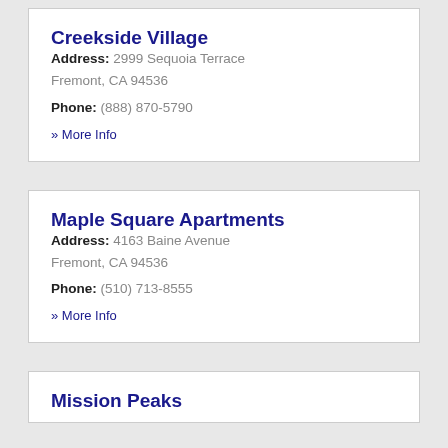Creekside Village
Address: 2999 Sequoia Terrace Fremont, CA 94536
Phone: (888) 870-5790
» More Info
Maple Square Apartments
Address: 4163 Baine Avenue Fremont, CA 94536
Phone: (510) 713-8555
» More Info
Mission Peaks